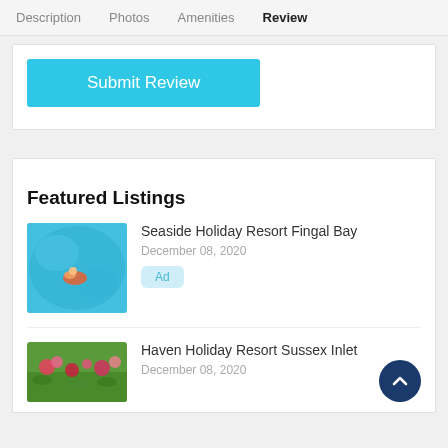Description  Photos  Amenities  Reviews
Submit Review
Featured Listings
Seaside Holiday Resort Fingal Bay
December 08, 2020
Ad
[Figure (photo): Aerial view of a swimming pool with a person on a float]
Haven Holiday Resort Sussex Inlet
December 08, 2020
[Figure (photo): Garden or floral area with green and colorful flowers]